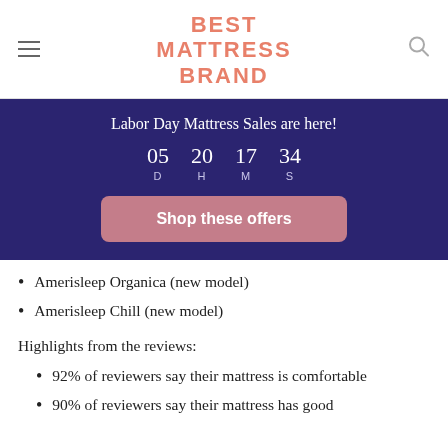BEST MATTRESS BRAND
[Figure (infographic): Labor Day Mattress Sales promotional banner with countdown timer showing 05 D 20 H 17 M 34 S and a 'Shop these offers' button]
Amerisleep Organica (new model)
Amerisleep Chill (new model)
Highlights from the reviews:
92% of reviewers say their mattress is comfortable
90% of reviewers say their mattress has good